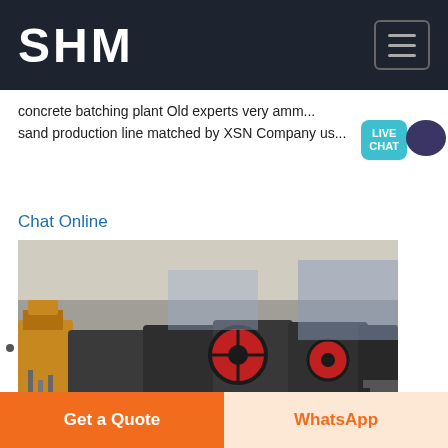SHM
concrete batching plant Old experts very amm... sand production line matched by XSN Company us...
Chat Online
[Figure (photo): Industrial mining/crushing machinery in a factory floor — multiple large rock crusher machines with red flywheels, yellow equipment, and conveyor lines in a wide industrial hall.]
crushed rocks prices india
Get a Quote
WhatsApp